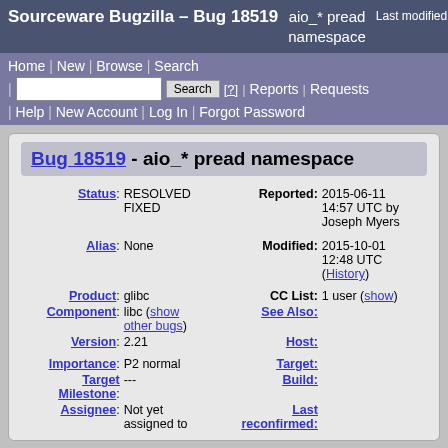Sourceware Bugzilla – Bug 18519   aio_* pread namespace   Last modified: 2015-10-
Home | New | Browse | Search | Search [?] | Reports | Requests | Help | New Account | Log In | Forgot Password
Bug 18519 - aio_* pread namespace
| Field | Value | Field | Value |
| --- | --- | --- | --- |
| Status: | RESOLVED FIXED | Reported: | 2015-06-11 14:57 UTC by Joseph Myers |
| Alias: | None | Modified: | 2015-10-01 12:48 UTC (History) |
| Product: | glibc | CC List: | 1 user (show) |
| Component: | libc (show other bugs) | See Also: |  |
| Version: | 2.21 | Host: |  |
| Importance: | P2 normal | Target: |  |
| Target Milestone: | --- | Build: |  |
| Assignee: | Not yet assigned to | Last reconfirmed: |  |